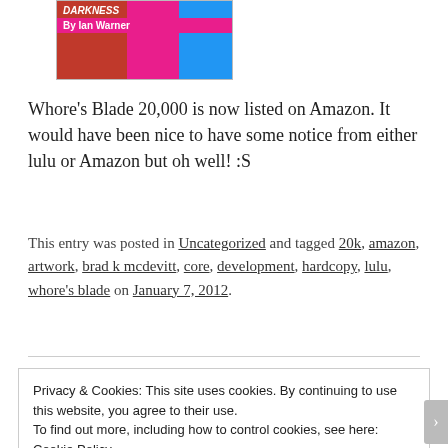[Figure (illustration): Partial book cover image showing 'DARKNESS By Ian Warner' text on a pink/magenta band, with illustrated figure legs in heels visible]
Whore's Blade 20,000 is now listed on Amazon. It would have been nice to have some notice from either lulu or Amazon but oh well! :S
This entry was posted in Uncategorized and tagged 20k, amazon, artwork, brad k mcdevitt, core, development, hardcopy, lulu, whore's blade on January 7, 2012.
Privacy & Cookies: This site uses cookies. By continuing to use this website, you agree to their use.
To find out more, including how to control cookies, see here: Cookie Policy